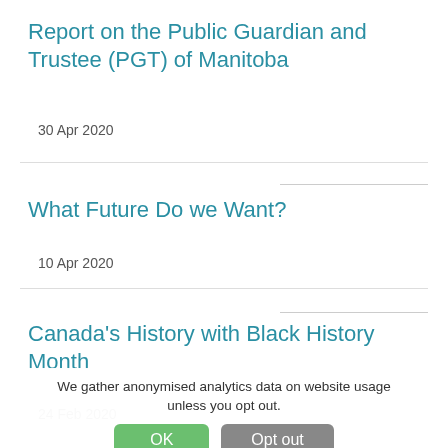Report on the Public Guardian and Trustee (PGT) of Manitoba
30 Apr 2020
What Future Do we Want?
10 Apr 2020
Canada's History with Black History Month
24 Feb 2020
We gather anonymised analytics data on website usage unless you opt out.